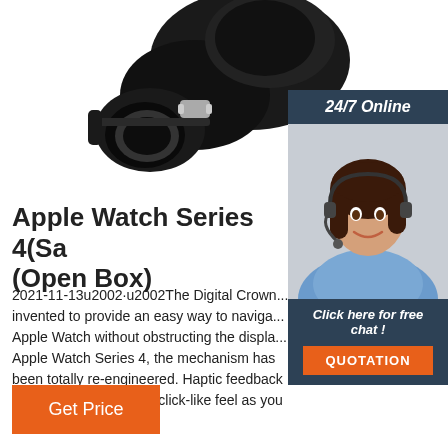[Figure (photo): Close-up photo of a black camera lens or optical instrument with silver metal clamp/attachment, viewed from front-side angle, on white background.]
[Figure (photo): Sidebar showing a smiling woman with dark hair wearing a headset (customer service agent), with '24/7 Online' header in dark blue, 'Click here for free chat!' text, and an orange 'QUOTATION' button below.]
Apple Watch Series 4(Sa... (Open Box)
2021-11-13u2002·u2002The Digital Crown... invented to provide an easy way to naviga... Apple Watch without obstructing the displa... Apple Watch Series 4, the mechanism has been totally re-engineered. Haptic feedback now delivers a precise, click-like feel as you scroll.
Get Price